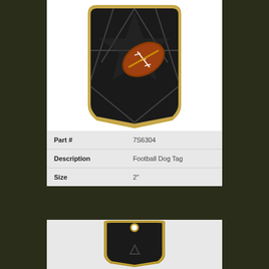[Figure (photo): Football Dog Tag medal with dark star-burst background and orange football in center, gold border, dog tag shape]
| Part # | 7S6304 |
| Description | Football Dog Tag |
| Size | 2" |
[Figure (photo): Back/plain view of a black and gold dog tag medal with a letter A emblem, showing the hole at the top for attachment]